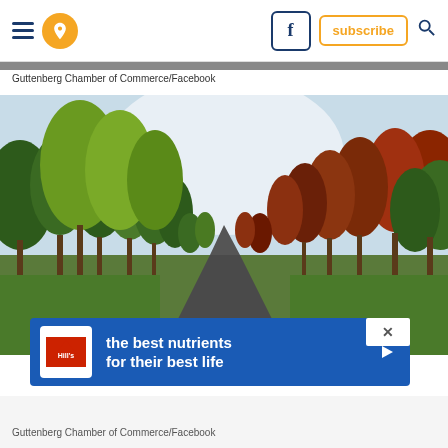Navigation bar with hamburger menu, location pin, Facebook button, subscribe button, and search icon
Guttenberg Chamber of Commerce/Facebook
[Figure (photo): Tree-lined park road in autumn with green and reddish-orange trees on both sides, pathway leading into the distance]
[Figure (other): Hill's pet nutrition advertisement banner: 'the best nutrients for their best life' with Hill's logo]
Guttenberg Chamber of Commerce/Facebook